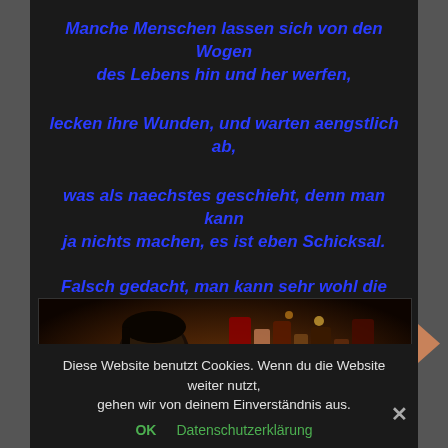Manche Menschen lassen sich von den Wogen des Lebens hin und her werfen,

lecken ihre Wunden, und warten aengstlich ab,

was als naechstes geschieht, denn man kann ja nichts machen, es ist eben Schicksal.

Falsch gedacht, man kann sehr wohl die Zuegel herumreissen.
[Figure (photo): Dark photo showing a woman's face on the left and bottles/items on the right, dimly lit with warm amber tones]
Diese Website benutzt Cookies. Wenn du die Website weiter nutzt, gehen wir von deinem Einverständnis aus.
OK   Datenschutzerklärung